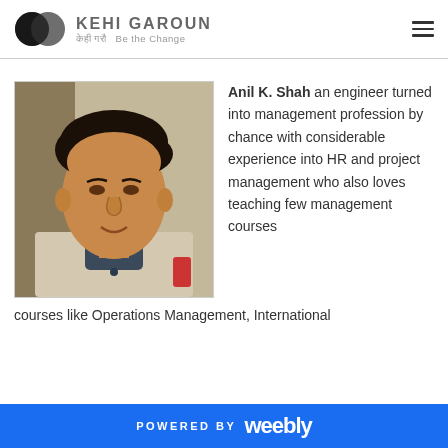KEHI GAROUN केही गरौ Be the Change
[Figure (photo): Portrait photo of Anil K. Shah, a man with dark hair wearing a light-colored jacket]
Anil K. Shah an engineer turned into management profession by chance with considerable experience into HR and project management who also loves teaching few management courses like Operations Management, International
POWERED BY weebly